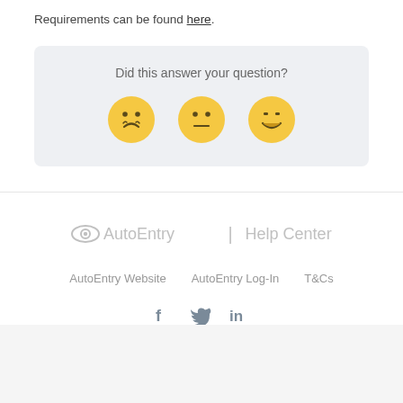Requirements can be found here.
[Figure (infographic): Feedback widget with 'Did this answer your question?' text and three emoji faces: sad, neutral, and happy]
[Figure (logo): AutoEntry | Help Center logo in light gray]
AutoEntry Website   AutoEntry Log-In   T&Cs